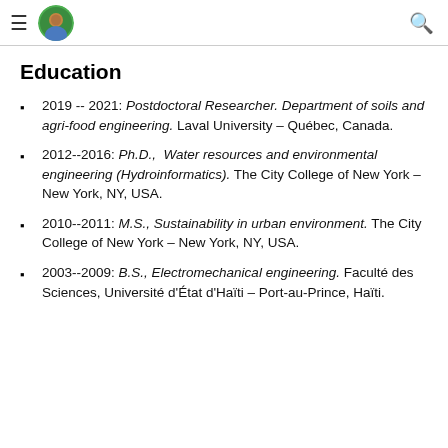Navigation header with hamburger menu, avatar image, and search icon
Education
2019 -- 2021: Postdoctoral Researcher. Department of soils and agri-food engineering. Laval University – Québec, Canada.
2012--2016: Ph.D.,  Water resources and environmental engineering (Hydroinformatics). The City College of New York – New York, NY, USA.
2010--2011: M.S., Sustainability in urban environment. The City College of New York – New York, NY, USA.
2003--2009: B.S., Electromechanical engineering. Faculté des Sciences, Université d'État d'Haïti – Port-au-Prince, Haïti.